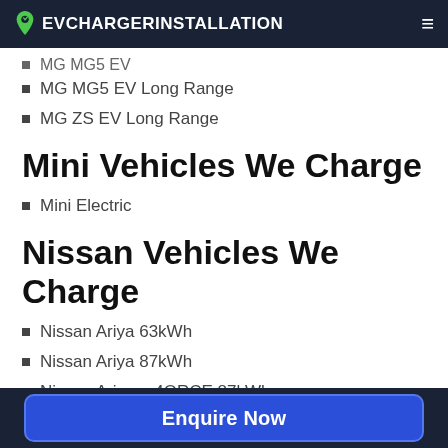EVCHARGERINSTALLATION
MG MG5 EV Long Range
MG ZS EV Long Range
Mini Vehicles We Charge
Mini Electric
Nissan Vehicles We Charge
Nissan Ariya 63kWh
Nissan Ariya 87kWh
Nissan Ariya e-4ORCE 87kWh
Nissan Ariya e-4ORCE 87kWh Performance
Enquire Now